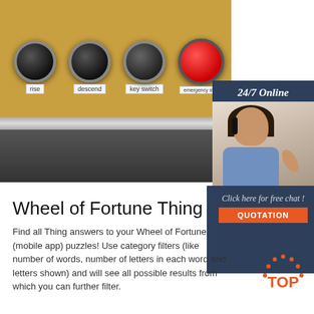[Figure (photo): Photo of an industrial control panel with buttons labeled rise, descend, key switch, and an emergency stop button. Panel is orange/yellow colored.]
[Figure (infographic): Advertisement panel with dark blue background showing '24/7 Online' heading, a woman with headset, text 'Click here for free chat!' and an orange QUOTATION button.]
Wheel of Fortune Thing
Find all Thing answers to your Wheel of Fortune (mobile app) puzzles! Use category filters (like number of words, number of letters in each word and letters shown) and will see all possible results from which you can further filter.